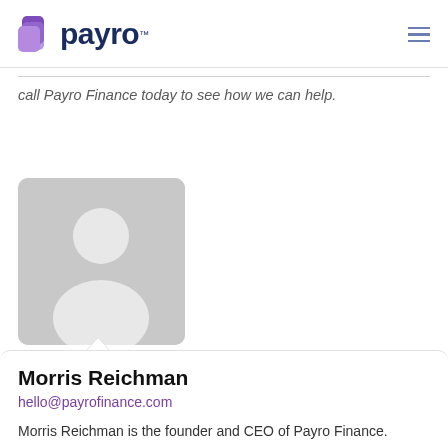payro™
call Payro Finance today to see how we can help.
[Figure (photo): Generic placeholder silhouette avatar photo in grey]
Morris Reichman
hello@payrofinance.com
Morris Reichman is the founder and CEO of Payro Finance. Former Vice President at Infinity Capital Funding